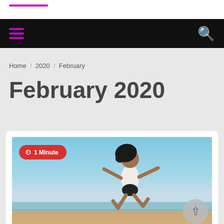Home / 2020 / February
February 2020
[Figure (photo): Woman jumping joyfully on a beach with blue sky and ocean in background. A red badge reading '1 Minute' with a clock icon overlays the top-left of the image. A grey circular scroll-up arrow button appears at the bottom-right.]